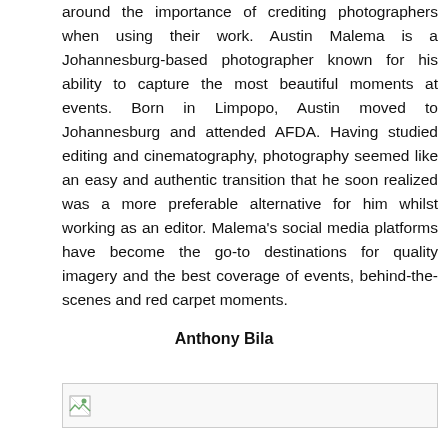around the importance of crediting photographers when using their work. Austin Malema is a Johannesburg-based photographer known for his ability to capture the most beautiful moments at events. Born in Limpopo, Austin moved to Johannesburg and attended AFDA. Having studied editing and cinematography, photography seemed like an easy and authentic transition that he soon realized was a more preferable alternative for him whilst working as an editor. Malema's social media platforms have become the go-to destinations for quality imagery and the best coverage of events, behind-the-scenes and red carpet moments.
Anthony Bila
[Figure (photo): Broken image placeholder icon with a small image icon in the top-left corner]